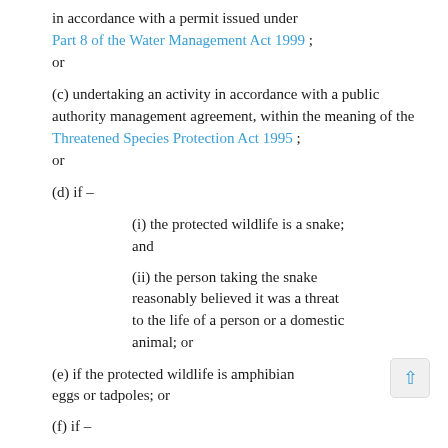in accordance with a permit issued under Part 8 of the Water Management Act 1999 ; or
(c) undertaking an activity in accordance with a public authority management agreement, within the meaning of the Threatened Species Protection Act 1995 ; or
(d) if –
(i) the protected wildlife is a snake; and
(ii) the person taking the snake reasonably believed it was a threat to the life of a person or a domestic animal; or
(e) if the protected wildlife is amphibian eggs or tadpoles; or
(f) if –